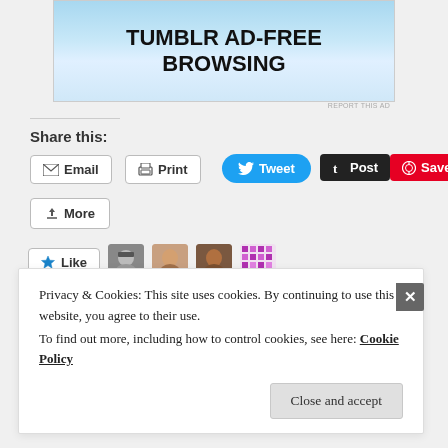[Figure (illustration): Tumblr Ad-Free Browsing banner advertisement with blue sky background]
REPORT THIS AD
Share this:
Email
Print
Tweet
Post
Save
More
[Figure (illustration): Like button with star icon followed by 4 blogger avatar thumbnails]
4 bloggers like this.
Privacy & Cookies: This site uses cookies. By continuing to use this website, you agree to their use.
To find out more, including how to control cookies, see here: Cookie Policy
Close and accept